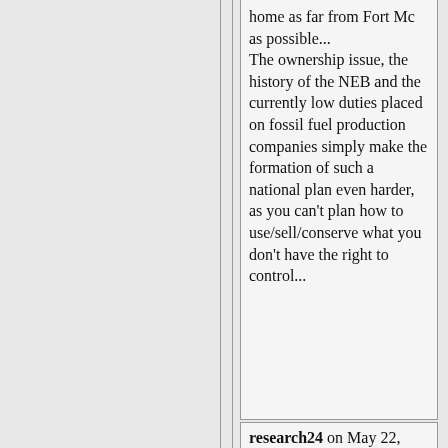...home as far from Fort Mc as possible... The ownership issue, the history of the NEB and the currently low duties placed on fossil fuel production companies simply make the formation of such a national plan even harder, as you can't plan how to use/sell/conserve what you don't have the right to control...
research24 on May 22, 2008 - 5:43pm Permalink | Parent | Comments top